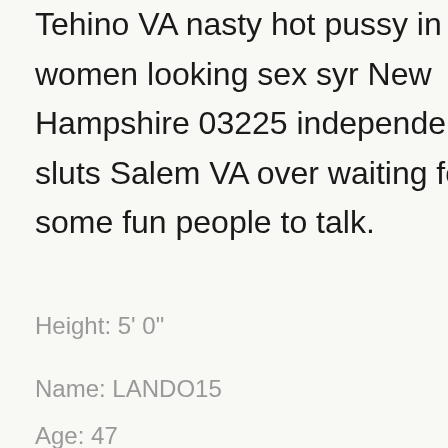Tehino VA nasty hot pussy in women looking sex syr New Hampshire 03225 independent sluts Salem VA over waiting for some fun people to talk.
Height: 5' 0"
Name: LANDO15
Age: 47